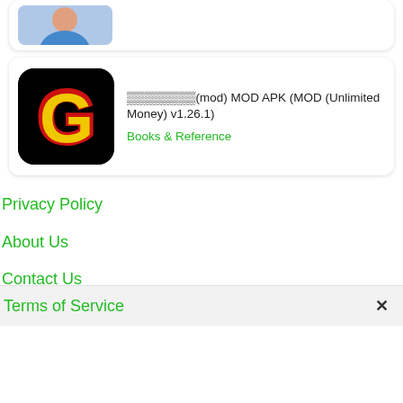[Figure (screenshot): Partial top card showing a person photo thumbnail]
[Figure (screenshot): App listing card with G logo icon (black background, red outline, yellow G letter). Title: ????????(mod) MOD APK (MOD (Unlimited Money) v1.26.1). Category: Books & Reference]
????????(mod) MOD APK (MOD (Unlimited Money) v1.26.1)
Books & Reference
Privacy Policy
About Us
Contact Us
Terms of Service